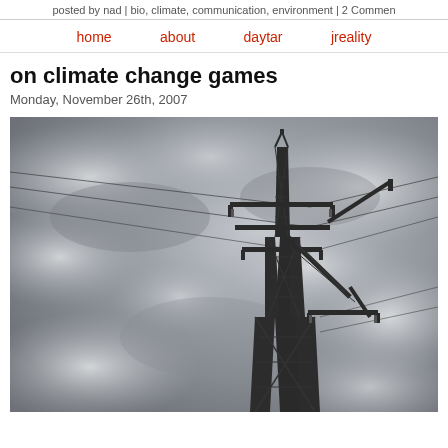posted by nad | bio, climate, communication, environment | 2 Comments
home   about   daytar   jreality
on climate change games
Monday, November 26th, 2007
[Figure (photo): Photograph of a large electrical power transmission tower (pylon) shot from below against a dramatic overcast grey cloudy sky. The metal lattice structure extends upward and to the right, with power lines extending from the crossarms.]